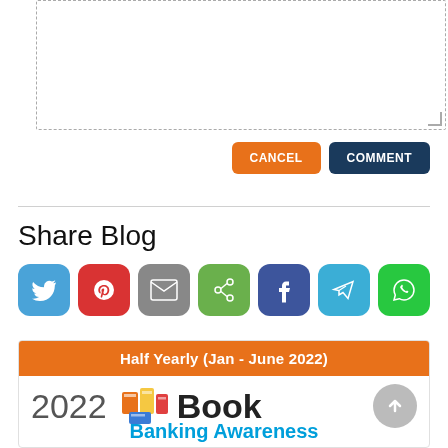[Figure (screenshot): Textarea input box with dashed border for comment entry]
[Figure (screenshot): Cancel (orange) and Comment (dark blue) buttons]
Share Blog
[Figure (infographic): Row of 7 social share icon buttons: Twitter (blue), Pinterest (red), Email (gray), Share (green), Facebook (dark blue), Telegram (light blue), WhatsApp (green)]
[Figure (infographic): Book product card with orange banner 'Half Yearly (Jan - June 2022)', year '2022', book icon, text 'Book', and 'Banking Awareness' in blue below]